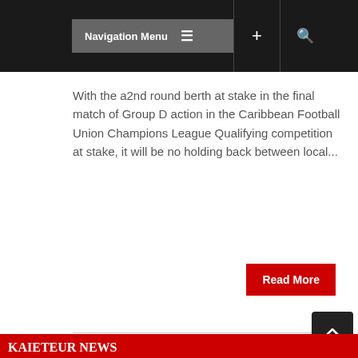Navigation Menu
With the a2nd round berth at stake in the final match of Group D action in the Caribbean Football Union Champions League Qualifying competition at stake, it will be no holding back between local...
Read More
[Figure (logo): Kaieteur News logo — white serif text on red background: large K followed by AIETEUR on top line, NEWS on bottom line with a horizontal rule between]